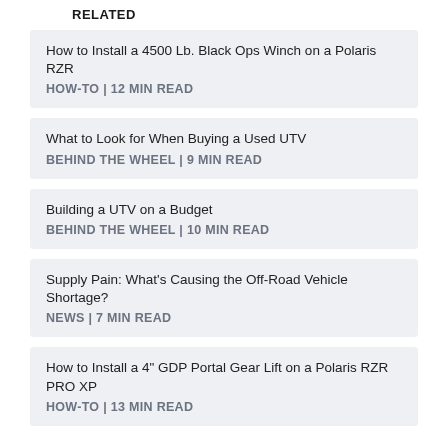RELATED
How to Install a 4500 Lb. Black Ops Winch on a Polaris RZR
HOW-TO | 12 MIN READ
What to Look for When Buying a Used UTV
BEHIND THE WHEEL | 9 MIN READ
Building a UTV on a Budget
BEHIND THE WHEEL | 10 MIN READ
Supply Pain: What's Causing the Off-Road Vehicle Shortage?
NEWS | 7 MIN READ
How to Install a 4" GDP Portal Gear Lift on a Polaris RZR PRO XP
HOW-TO | 13 MIN READ